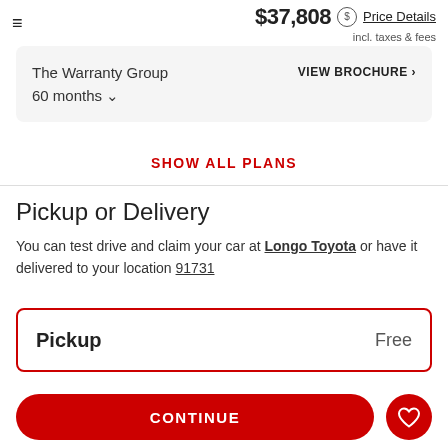$37,808 incl. taxes & fees | Price Details
The Warranty Group
60 months
VIEW BROCHURE ›
SHOW ALL PLANS
Pickup or Delivery
You can test drive and claim your car at Longo Toyota or have it delivered to your location 91731
Pickup  Free
CONTINUE